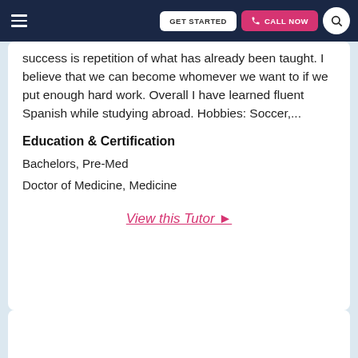GET STARTED | CALL NOW
success is repetition of what has already been taught. I believe that we can become whomever we want to if we put enough hard work. Overall I have learned fluent Spanish while studying abroad. Hobbies: Soccer,...
Education & Certification
Bachelors, Pre-Med
Doctor of Medicine, Medicine
View this Tutor ▶